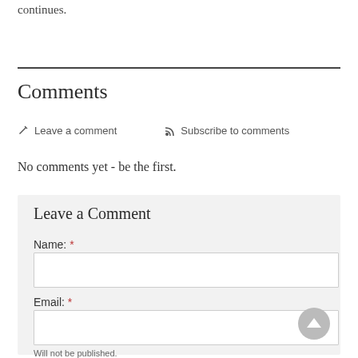continues.
Comments
✏ Leave a comment   ☰ Subscribe to comments
No comments yet - be the first.
Leave a Comment
Name: *
Email: *
Will not be published.